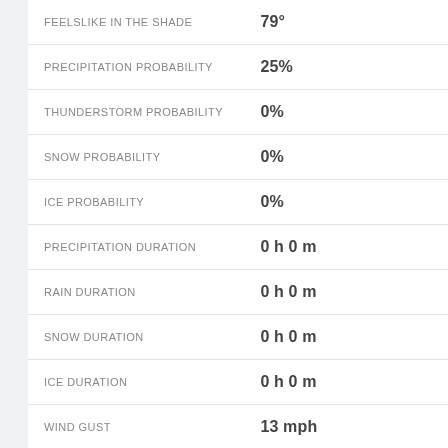| Metric | Value |
| --- | --- |
| FEELSLIKE IN THE SHADE | 79° |
| PRECIPITATION PROBABILITY | 25% |
| THUNDERSTORM PROBABILITY | 0% |
| SNOW PROBABILITY | 0% |
| ICE PROBABILITY | 0% |
| PRECIPITATION DURATION | 0 h 0 m |
| RAIN DURATION | 0 h 0 m |
| SNOW DURATION | 0 h 0 m |
| ICE DURATION | 0 h 0 m |
| WIND GUST | 13 mph |
| TOTAL LIQUID | 0.00 " |
| RAIN | 0.00 " |